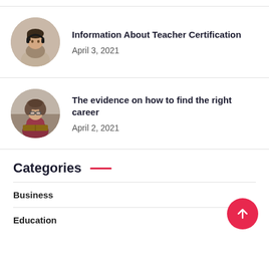[Figure (photo): Circular avatar photo of a person wearing headphones, working at a desk]
Information About Teacher Certification
April 3, 2021
[Figure (photo): Circular avatar photo of a woman reading a book]
The evidence on how to find the right career
April 2, 2021
Categories
Business
Education